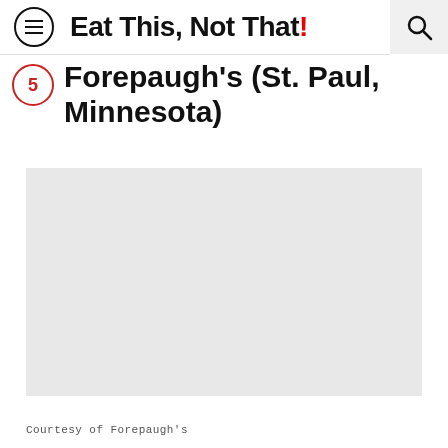Eat This, Not That!
Forepaugh's (St. Paul, Minnesota)
[Figure (photo): Large light gray placeholder image area representing a photo of Forepaugh's restaurant in St. Paul, Minnesota]
Courtesy of Forepaugh's